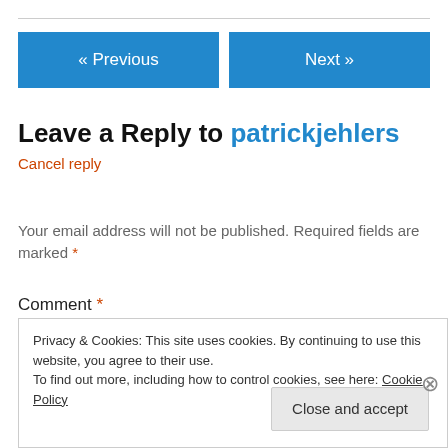« Previous    Next »
Leave a Reply to patrickjehlers
Cancel reply
Your email address will not be published. Required fields are marked *
Comment *
Privacy & Cookies: This site uses cookies. By continuing to use this website, you agree to their use.
To find out more, including how to control cookies, see here: Cookie Policy
Close and accept